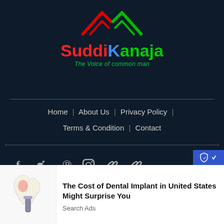[Figure (logo): SuddiKanaja logo with red and green chevron icon above the text, tagline 'The Voice of common man' in green]
Home | About Us | Privacy Policy | Terms & Condition | Contact
[Figure (infographic): Social media icons: Facebook, Twitter, Pinterest, Instagram, and two link/chain icons in light grey on dark background]
(C) 2022 SUDDIKANAJA.COM ALL RIGHTS RESERVED | DEVELOPED AND MAINTAINED BY WEBGAUGE
[Figure (infographic): Advertisement banner: dental implant illustration with text 'The Cost of Dental Implant in United States Might Surprise You' and 'Search Ads']